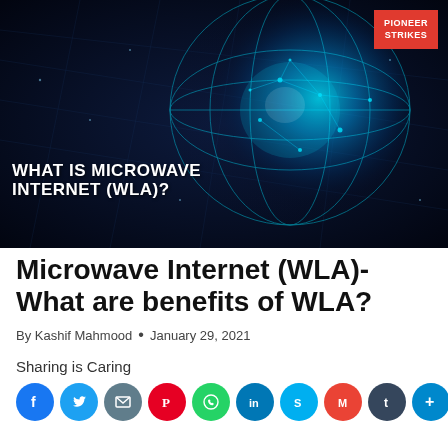[Figure (photo): Dark background hero image showing a glowing blue digital globe with network connections and lines. Red badge in top-right corner reading PIONEER STRIKES. White bold uppercase text overlay reads: WHAT IS MICROWAVE INTERNET (WLA)?]
Microwave Internet (WLA)- What are benefits of WLA?
By Kashif Mahmood • January 29, 2021
Sharing is Caring
[Figure (infographic): Row of social media sharing icon buttons: Facebook, Twitter, Email, Pinterest, WhatsApp, LinkedIn, Skype, Gmail, Tumblr, and more (plus icon)]